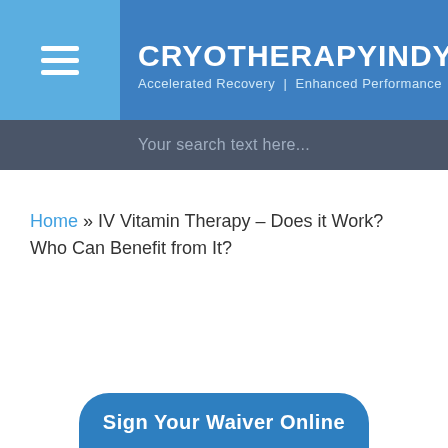CRYOTHERAPYINDY — Accelerated Recovery | Enhanced Performance
Your search text here...
Home » IV Vitamin Therapy – Does it Work? Who Can Benefit from It?
Sign Your Waiver Online